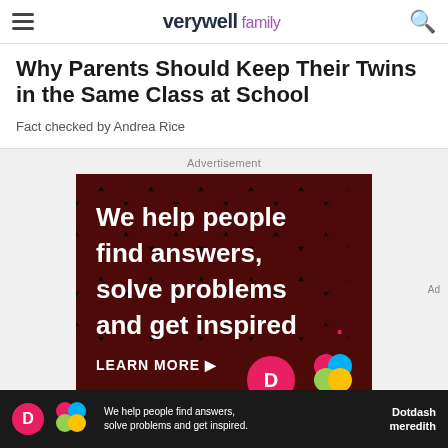verywell family
Why Parents Should Keep Their Twins in the Same Class at School
Fact checked by Andrea Rice
Advertisement
[Figure (photo): Advertisement banner with dark background with dark red polka dots pattern, white bold text reading 'We help people find answers, solve problems and get inspired.' with a pink period, 'LEARN MORE' button, Dotdash and colorful clover logos at bottom]
We help people find answers, solve problems and get inspired.
Dotdash meredith